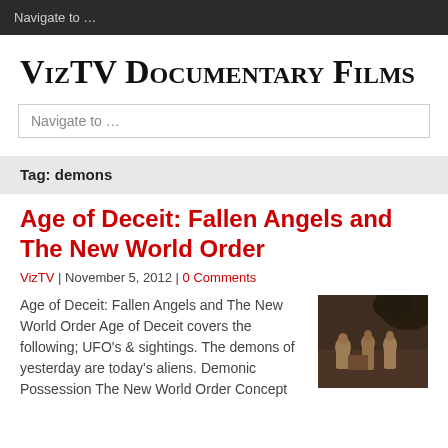Navigate to …
VizTV Documentary Films
Navigate to …
Tag: demons
Age of Deceit: Fallen Angels and The New World Order
VizTV | November 5, 2012 | 0 Comments
Age of Deceit: Fallen Angels and The New World Order Age of Deceit covers the following; UFO's & sightings. The demons of yesterday are today's aliens. Demonic Possession The New World Order Concept
[Figure (photo): Classical painting showing several figures, appears to be a Renaissance-style scene with nude and partially clothed figures against a dark outdoor background.]